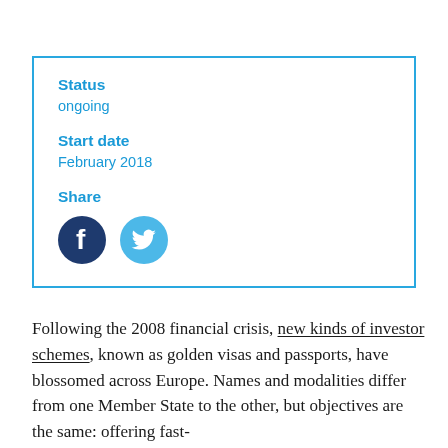Status
ongoing

Start date
February 2018

Share
[Figure (infographic): Facebook and Twitter social share icon buttons]
Following the 2008 financial crisis, new kinds of investor schemes, known as golden visas and passports, have blossomed across Europe. Names and modalities differ from one Member State to the other, but objectives are the same: offering fast-